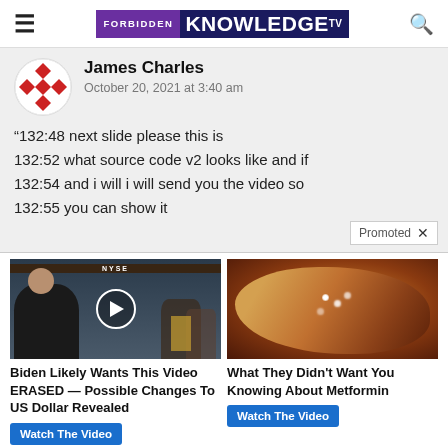FORBIDDEN KNOWLEDGE TV
James Charles
October 20, 2021 at 3:40 am
“132:48 next slide please this is
132:52 what source code v2 looks like and if
132:54 and i will i will send you the video so
132:55 you can show it
[Figure (screenshot): Promoted ad thumbnail: man in suit on NYSE trading floor, video play button overlay]
Biden Likely Wants This Video ERASED — Possible Changes To US Dollar Revealed
Watch The Video
[Figure (photo): Promoted ad thumbnail: medical image of pancreas with glowing dots]
What They Didn't Want You Knowing About Metformin
Watch The Video